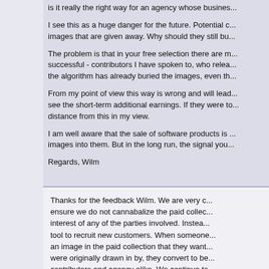is it really the right way for an agency whose busines...
I see this as a huge danger for the future. Potential c... images that are given away. Why should they still bu...
The problem is that in your free selection there are m... successful - contributors I have spoken to, who relea... the algorithm has already buried the images, even th...
From my point of view this way is wrong and will lead... see the short-term additional earnings. If they were t... distance from this in my view.
I am well aware that the sale of software products is ... images into them. But in the long run, the signal you...
Regards, Wilm
Thanks for the feedback Wilm. We are very c... ensure we do not cannabalize the paid collec... interest of any of the parties involved. Instea... tool to recruit new customers. When someone... an image in the paid collection that they want... were originally drawn in by, they convert to b... contributors and agency alike. We continue t... good quality, but are not current best sellers.